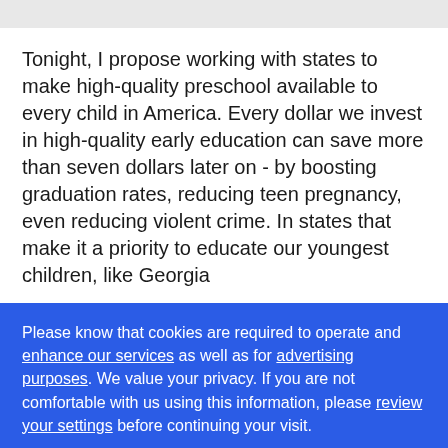Tonight, I propose working with states to make high-quality preschool available to every child in America. Every dollar we invest in high-quality early education can save more than seven dollars later on - by boosting graduation rates, reducing teen pregnancy, even reducing violent crime. In states that make it a priority to educate our youngest children, like Georgia
Please know that cookies are required to operate and enhance our services as well as for advertising purposes. We value your privacy. If you are not comfortable with us using this information, please review your settings before continuing your visit.
Learn more
✕ Close